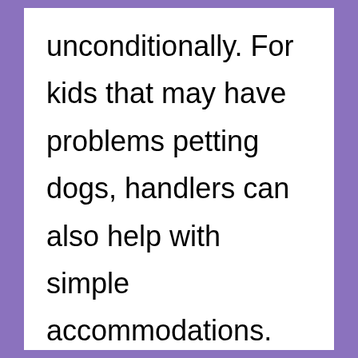unconditionally. For kids that may have problems petting dogs, handlers can also help with simple accommodations. The most common is picking up the dog so no one has to bend over. Other accommodations include